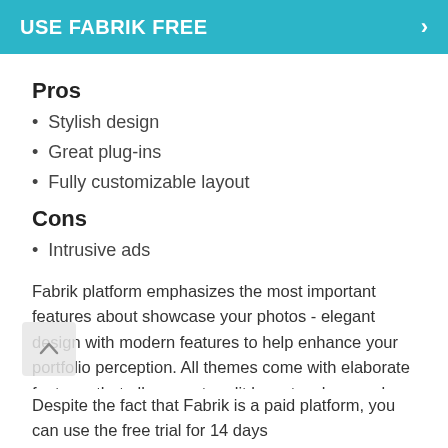USE FABRIK FREE
Pros
Stylish design
Great plug-ins
Fully customizable layout
Cons
Intrusive ads
Fabrik platform emphasizes the most important features about showcase your photos - elegant design with modern features to help enhance your portfolio perception. All themes come with elaborate features that allow you to edit layout, colors, and objects in the design.
Despite the fact that Fabrik is a paid platform, you can use the free trial for 14 days